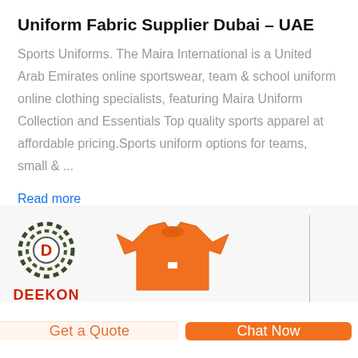Uniform Fabric Supplier Dubai – UAE
Sports Uniforms. The Maira International is a United Arab Emirates online sportswear, team & school uniform online clothing specialists, featuring Maira Uniform Collection and Essentials Top quality sports apparel at affordable pricing.Sports uniform options for teams, small & ...
Read more
[Figure (logo): DEEKON logo: circular emblem with letter D in center, green/dark ring pattern, with red DEEKON text below]
[Figure (photo): Orange sports uniform / t-shirt product image]
Get a Quote
Chat Now